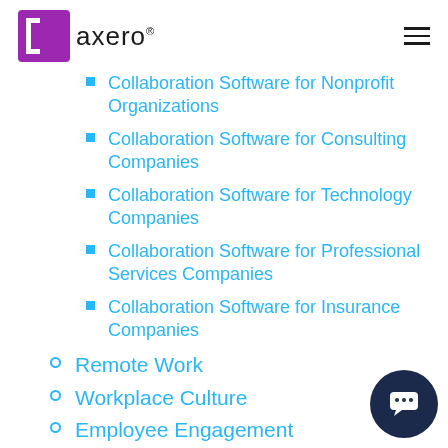[Figure (logo): Axero logo with purple square bracket icon and 'axero' wordmark]
Collaboration Software for Nonprofit Organizations
Collaboration Software for Consulting Companies
Collaboration Software for Technology Companies
Collaboration Software for Professional Services Companies
Collaboration Software for Insurance Companies
Remote Work
Workplace Culture
Employee Engagement